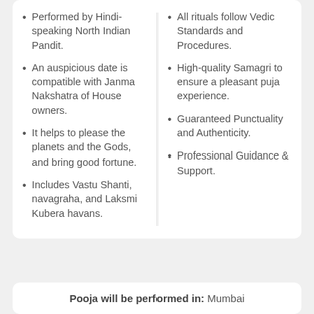Performed by Hindi-speaking North Indian Pandit.
An auspicious date is compatible with Janma Nakshatra of House owners.
It helps to please the planets and the Gods, and bring good fortune.
Includes Vastu Shanti, navagraha, and Laksmi Kubera havans.
All rituals follow Vedic Standards and Procedures.
High-quality Samagri to ensure a pleasant puja experience.
Guaranteed Punctuality and Authenticity.
Professional Guidance & Support.
Pooja will be performed in: Mumbai